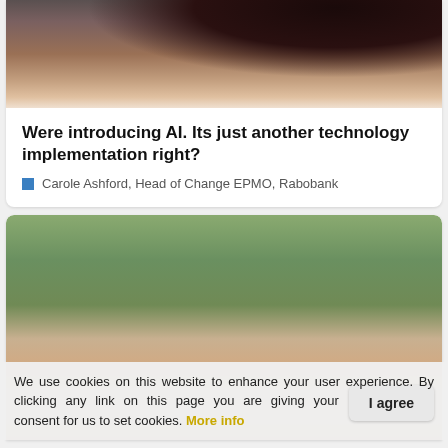[Figure (photo): Partial photo of a woman with dark hair, cropped at top of page showing face and shoulders]
Were introducing AI. Its just another technology implementation right?
Carole Ashford, Head of Change EPMO, Rabobank
[Figure (photo): Photo of a man with short blonde/light brown hair against a blurred green outdoor background]
We use cookies on this website to enhance your user experience. By clicking any link on this page you are giving your consent for us to set cookies. More info